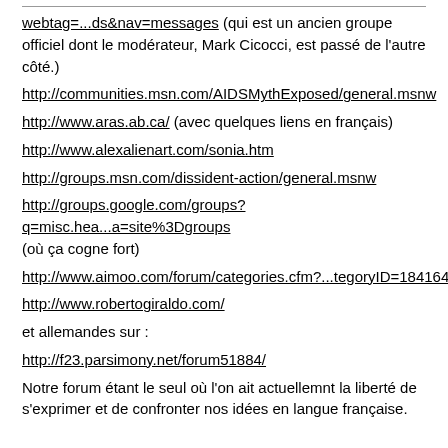webtag=...ds&nav=messages (qui est un ancien groupe officiel dont le modérateur, Mark Cicocci, est passé de l'autre côté.)
http://communities.msn.com/AIDSMythExposed/general.msnw
http://www.aras.ab.ca/ (avec quelques liens en français)
http://www.alexalienart.com/sonia.htm
http://groups.msn.com/dissident-action/general.msnw
http://groups.google.com/groups?q=misc.hea...a=site%3Dgroups (où ça cogne fort)
http://www.aimoo.com/forum/categories.cfm?...tegoryID=184164
http://www.robertogiraldo.com/
et allemandes sur :
http://f23.parsimony.net/forum51884/
Notre forum étant le seul où l'on ait actuellemnt la liberté de s'exprimer et de confronter nos idées en langue française.